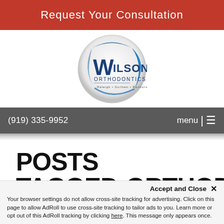Request Your Consultation
[Figure (logo): Wilson Orthodontics circular logo with blue swoosh and text]
(919) 335-9952    menu |
POSTS TAGGED:ORTHODONTIST IN ROXBORO, NC
Accept and Close ×
Your browser settings do not allow cross-site tracking for advertising. Click on this page to allow AdRoll to use cross-site tracking to tailor ads to you. Learn more or opt out of this AdRoll tracking by clicking here. This message only appears once.